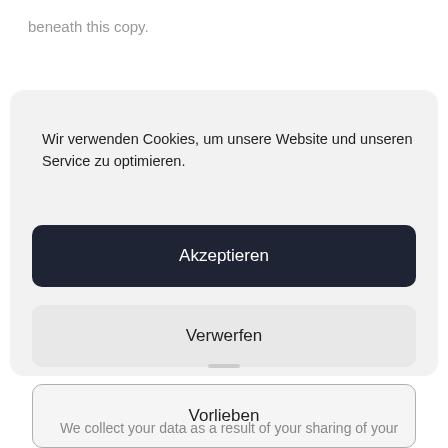beneath this copy.
Wir verwenden Cookies, um unsere Website und unseren Service zu optimieren.
Akzeptieren
Verwerfen
Vorlieben
Privacy Policy   Privacy Policy   Imprint
We collect your data as a result of your sharing of your